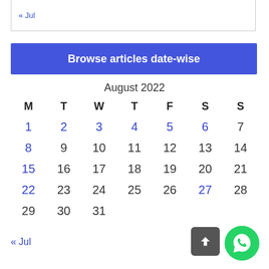« Jul
Browse articles date-wise
| M | T | W | T | F | S | S |
| --- | --- | --- | --- | --- | --- | --- |
| 1 | 2 | 3 | 4 | 5 | 6 | 7 |
| 8 | 9 | 10 | 11 | 12 | 13 | 14 |
| 15 | 16 | 17 | 18 | 19 | 20 | 21 |
| 22 | 23 | 24 | 25 | 26 | 27 | 28 |
| 29 | 30 | 31 |  |  |  |  |
« Jul